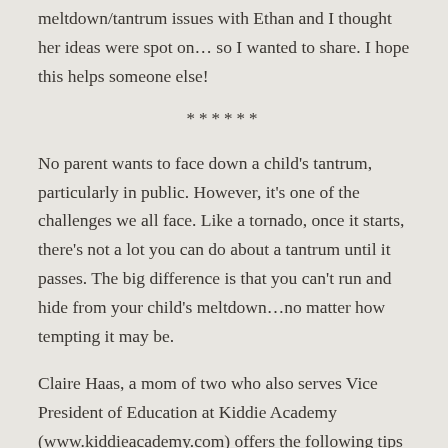meltdown/tantrum issues with Ethan and I thought her ideas were spot on… so I wanted to share. I hope this helps someone else!
******
No parent wants to face down a child's tantrum, particularly in public. However, it's one of the challenges we all face. Like a tornado, once it starts, there's not a lot you can do about a tantrum until it passes. The big difference is that you can't run and hide from your child's meltdown…no matter how tempting it may be.
Claire Haas, a mom of two who also serves Vice President of Education at Kiddie Academy (www.kiddieacademy.com) offers the following tips on how to manage and prevent tantrums at any age: